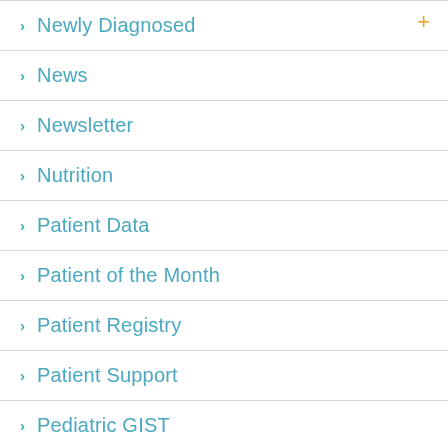> Newly Diagnosed
> News
> Newsletter
> Nutrition
> Patient Data
> Patient of the Month
> Patient Registry
> Patient Support
> Pediatric GIST
> Photos